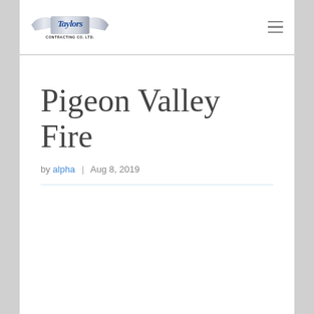[Figure (logo): Taylors Contracting Co. Ltd. logo with stylized script text and wing/ribbon graphic in blue and silver]
Pigeon Valley Fire
by alpha | Aug 8, 2019